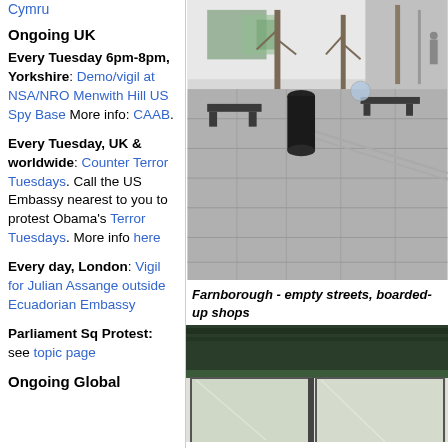Cymru
Ongoing UK
Every Tuesday 6pm-8pm, Yorkshire: Demo/vigil at NSA/NRO Menwith Hill US Spy Base More info: CAAB.
Every Tuesday, UK & worldwide: Counter Terror Tuesdays. Call the US Embassy nearest to you to protest Obama's Terror Tuesdays. More info here
Every day, London: Vigil for Julian Assange outside Ecuadorian Embassy
Parliament Sq Protest: see topic page
Ongoing Global
[Figure (photo): Outdoor pedestrian plaza with paving stones, black cylindrical bollards, benches, bare trees, and a mural visible on a white wall in the background.]
Farnborough - empty streets, boarded-up shops
[Figure (photo): Close-up of a shop front with dark green signage and glass windows, partially visible.]